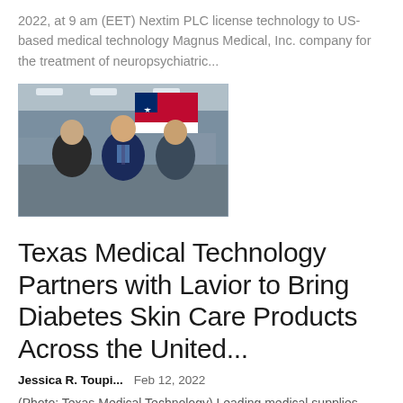2022, at 9 am (EET) Nextim PLC license technology to US-based medical technology Magnus Medical, Inc. company for the treatment of neuropsychiatric...
[Figure (photo): Three men in business attire standing in front of a Texas state flag in an industrial or warehouse setting.]
Texas Medical Technology Partners with Lavior to Bring Diabetes Skin Care Products Across the United...
Jessica R. Toupi...   Feb 12, 2022
(Photo: Texas Medical Technology) Leading medical supplies...